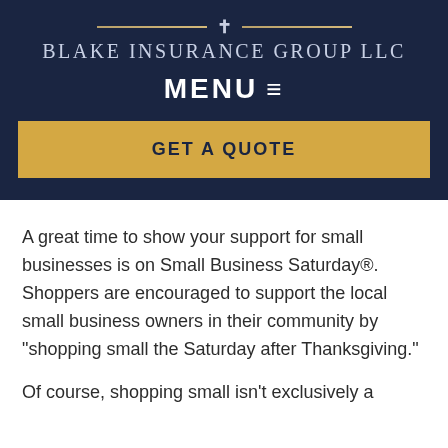[Figure (logo): Blake Insurance Group LLC logo with cross icon flanked by gold horizontal bars and company name in small caps]
MENU ≡
GET A QUOTE
A great time to show your support for small businesses is on Small Business Saturday®. Shoppers are encouraged to support the local small business owners in their community by "shopping small the Saturday after Thanksgiving."
Of course, shopping small isn't exclusively a